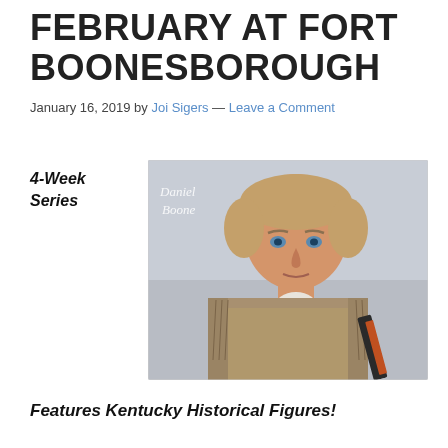FEBRUARY AT FORT BOONESBOROUGH
January 16, 2019 by Joi Sigers — Leave a Comment
4-Week Series
[Figure (photo): Portrait illustration of Daniel Boone, a man with light brown hair, wearing a fringed frontier jacket, holding a rifle. The text 'Daniel Boone' appears in script in the upper left of the image.]
Features Kentucky Historical Figures!